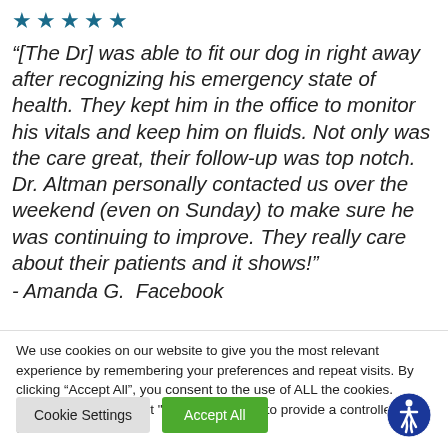[Figure (other): Five blue star rating icons]
“[The Dr] was able to fit our dog in right away after recognizing his emergency state of health. They kept him in the office to monitor his vitals and keep him on fluids. Not only was the care great, their follow-up was top notch. Dr. Altman personally contacted us over the weekend (even on Sunday) to make sure he was continuing to improve. They really care about their patients and it shows!”
- Amanda G.  Facebook
We use cookies on our website to give you the most relevant experience by remembering your preferences and repeat visits. By clicking “Accept All”, you consent to the use of ALL the cookies. However, you may visit "Cookie Settings" to provide a controlled consent.